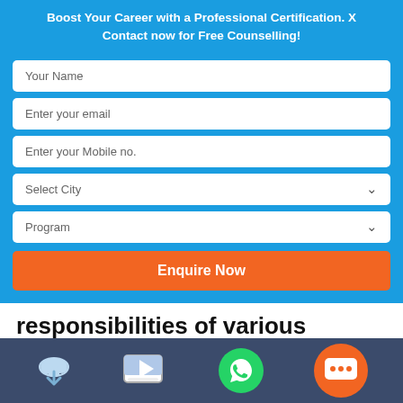Boost Your Career with a Professional Certification. X Contact now for Free Counselling!
Your Name
Enter your email
Enter your Mobile no.
Select City
Program
Enquire Now
responsibilities of various roles
| Parameter |
| --- |